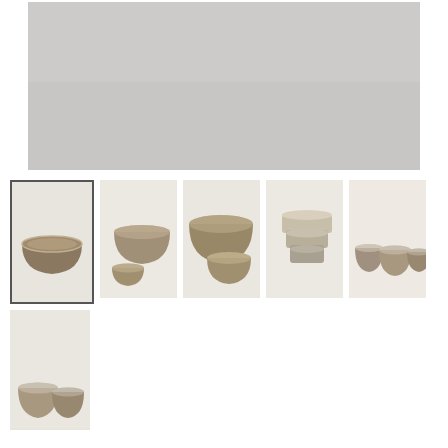[Figure (photo): Large main product image showing ceramic bowls/cups on a light gray background]
[Figure (photo): Thumbnail 1 (selected): Single dark-toned ceramic bowl on white background]
[Figure (photo): Thumbnail 2: Two ceramic bowls of different sizes stacked/grouped, sandy/beige tones]
[Figure (photo): Thumbnail 3: Three ceramic bowls of varying sizes grouped together]
[Figure (photo): Thumbnail 4: Stack of three ceramic bowls viewed from side]
[Figure (photo): Thumbnail 5: Three small ceramic cups in a row, two sizes]
[Figure (photo): Thumbnail 6 (bottom row): Two small ceramic cups side by side]